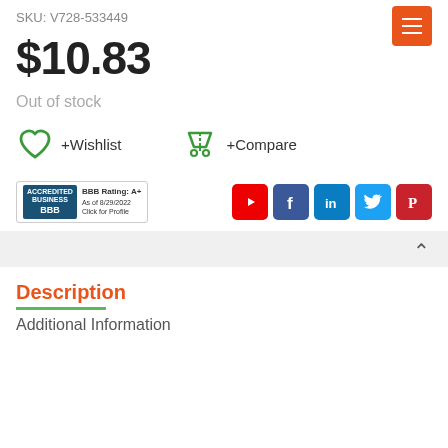Armani Vial (Sample) 1oz-2L (Men)
SKU: V728-533449
$10.83
Out of stock
[Figure (infographic): Wishlist and Compare buttons with heart and scale icons]
[Figure (infographic): BBB Accredited Business badge and social media icons for YouTube, Facebook, LinkedIn, Twitter, Pinterest]
Description
Additional Information